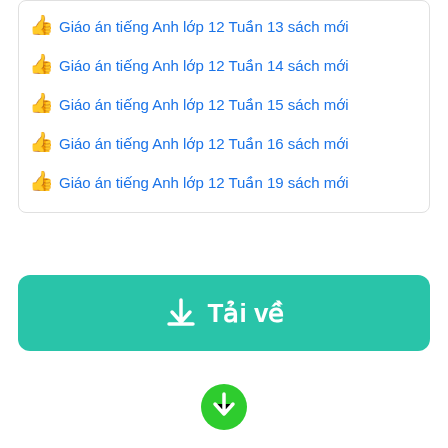Giáo án tiếng Anh lớp 12 Tuần 13 sách mới
Giáo án tiếng Anh lớp 12 Tuần 14 sách mới
Giáo án tiếng Anh lớp 12 Tuần 15 sách mới
Giáo án tiếng Anh lớp 12 Tuần 16 sách mới
Giáo án tiếng Anh lớp 12 Tuần 19 sách mới
[Figure (other): Tải về (download) button with download icon, teal/green background]
[Figure (other): Green circle with white downward arrow icon at bottom center]